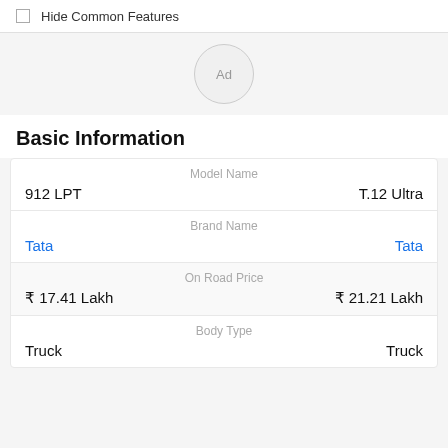Hide Common Features
[Figure (other): Ad placeholder circle with text 'Ad']
Basic Information
|  | Model Name |  |
| --- | --- | --- |
| 912 LPT |  | T.12 Ultra |
|  | Brand Name |  |
| Tata |  | Tata |
|  | On Road Price |  |
| ₹ 17.41 Lakh |  | ₹ 21.21 Lakh |
|  | Body Type |  |
| Truck |  | Truck |